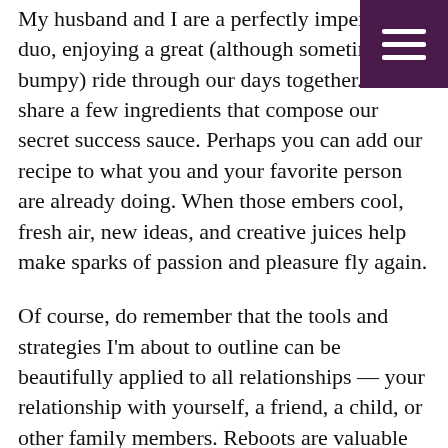My husband and I are a perfectly imperfect duo, enjoying a great (although sometimes bumpy) ride through our days together. Bel I'll share a few ingredients that compose our secret success sauce. Perhaps you can add our recipe to what you and your favorite person are already doing. When those embers cool, fresh air, new ideas, and creative juices help make sparks of passion and pleasure fly again.
[Figure (other): Dark purple hamburger menu button (three horizontal white lines) in the top-right corner]
Of course, do remember that the tools and strategies I'm about to outline can be beautifully applied to all relationships — your relationship with yourself, a friend, a child, or other family members. Reboots are valuable across the spectrum and can powerfully enhance any and all connections.